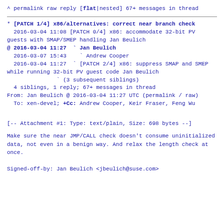^ permalink raw reply    [flat|nested] 67+ messages in thread
* [PATCH 1/4] x86/alternatives: correct near branch check
  2016-03-04 11:08 [PATCH 0/4] x86: accommodate 32-bit PV guests with SMAP/SMEP handling Jan Beulich
@ 2016-03-04 11:27 ` Jan Beulich
  2016-03-07 15:43   ` Andrew Cooper
  2016-03-04 11:27 ` [PATCH 2/4] x86: suppress SMAP and SMEP while running 32-bit PV guest code Jan Beulich
               ` (3 subsequent siblings)
  4 siblings, 1 reply; 67+ messages in thread
From: Jan Beulich @ 2016-03-04 11:27 UTC (permalink / raw)
  To: xen-devel; +Cc: Andrew Cooper, Keir Fraser, Feng Wu
[-- Attachment #1: Type: text/plain, Size: 698 bytes --]
Make sure the near JMP/CALL check doesn't consume uninitialized
data, not even in a benign way. And relax the length check at once.

Signed-off-by: Jan Beulich <jbeulich@suse.com>